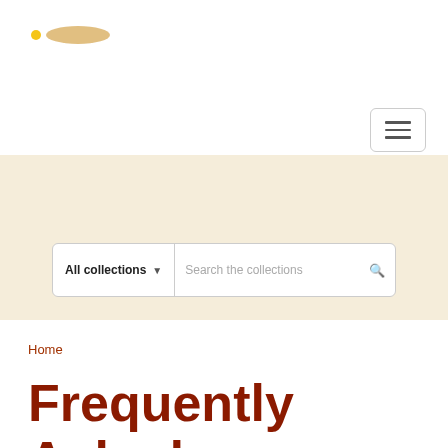Logo and navigation header with menu button
[Figure (screenshot): Search bar with 'All collections' dropdown and 'Search the collections' input field on a beige/cream banner background]
Home
Frequently Asked Questions